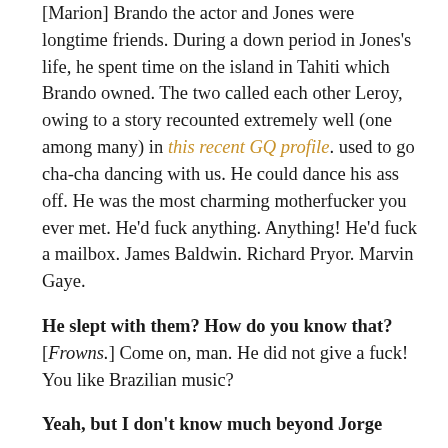[Marion] Brando the actor and Jones were longtime friends. During a down period in Jones's life, he spent time on the island in Tahiti which Brando owned. The two called each other Leroy, owing to a story recounted extremely well (one among many) in this recent GQ profile. used to go cha-cha dancing with us. He could dance his ass off. He was the most charming motherfucker you ever met. He'd fuck anything. Anything! He'd fuck a mailbox. James Baldwin. Richard Pryor. Marvin Gaye.
He slept with them? How do you know that? [Frowns.] Come on, man. He did not give a fuck! You like Brazilian music?
Yeah, but I don't know much beyond Jorge